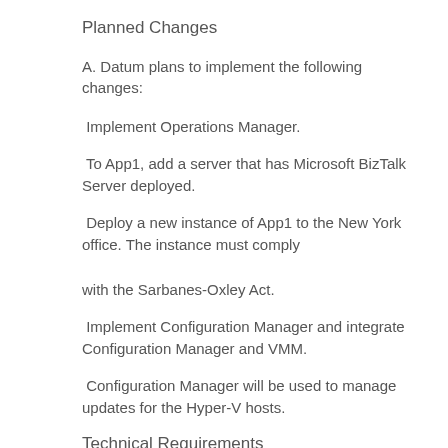Planned Changes
A. Datum plans to implement the following changes:
Implement Operations Manager.
To App1, add a server that has Microsoft BizTalk Server deployed.
Deploy a new instance of App1 to the New York office. The instance must comply with the Sarbanes-Oxley Act.
Implement Configuration Manager and integrate Configuration Manager and VMM.
Configuration Manager will be used to manage updates for the Hyper-V hosts.
Technical Requirements